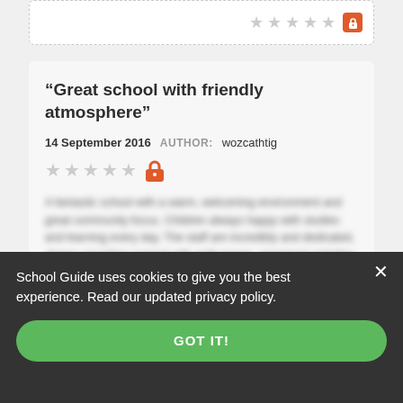[Figure (other): Partially visible review card with gray stars and orange lock icon at top of page]
“Great school with friendly atmosphere”
14 September 2016   AUTHOR:  wozcathtig
[Figure (other): Five gray stars followed by an orange padlock/lock icon indicating locked rating]
[Blurred review text content — locked behind login]
School Guide uses cookies to give you the best experience. Read our updated privacy policy.
GOT IT!